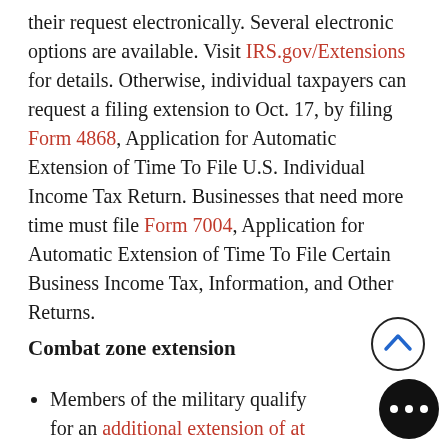their request electronically. Several electronic options are available. Visit IRS.gov/Extensions for details. Otherwise, individual taxpayers can request a filing extension to Oct. 17, by filing Form 4868, Application for Automatic Extension of Time To File U.S. Individual Income Tax Return. Businesses that need more time must file Form 7004, Application for Automatic Extension of Time To File Certain Business Income Tax, Information, and Other Returns.
Combat zone extension
Members of the military qualify for an additional extension of at least 180 days to file and pay